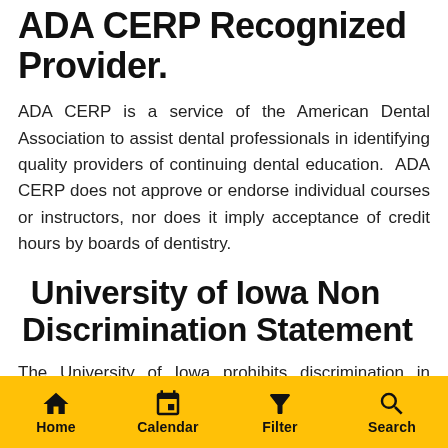ADA CERP Recognized Provider.
ADA CERP is a service of the American Dental Association to assist dental professionals in identifying quality providers of continuing dental education.  ADA CERP does not approve or endorse individual courses or instructors, nor does it imply acceptance of credit hours by boards of dentistry.
University of Iowa Non Discrimination Statement
The University of Iowa prohibits discrimination in employment, educational programs, and activities on the basis of race, creed, color, religion, national origin,
Home  Calendar  Filter  Search